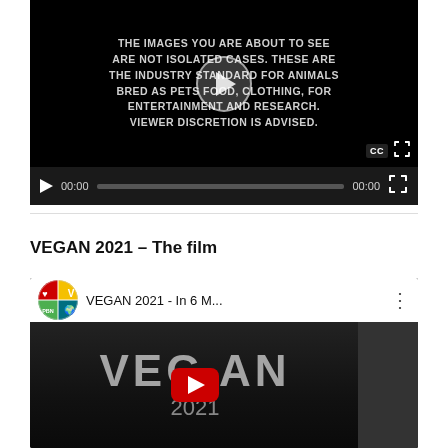[Figure (screenshot): Embedded video player with black background showing white uppercase text warning message: 'THE IMAGES YOU ARE ABOUT TO SEE ARE NOT ISOLATED CASES. THESE ARE THE INDUSTRY STANDARD FOR ANIMALS BRED AS PETS FOOD, CLOTHING, FOR ENTERTAINMENT AND RESEARCH. VIEWER DISCRETION IS ADVISED.' Play button in center, CC and fullscreen icons at bottom right. Controls bar below with play button, time 00:00, progress slider, time 00:00, and fullscreen icon.]
[Figure (screenshot): YouTube video embed for 'VEGAN 2021 - In 6 M...' with PBN logo (circular icon with heart, V, globe, red quarters) at top. Dark background showing large text 'VEGAN' and '2021' with a YouTube play button in center. Dark strip on right side.]